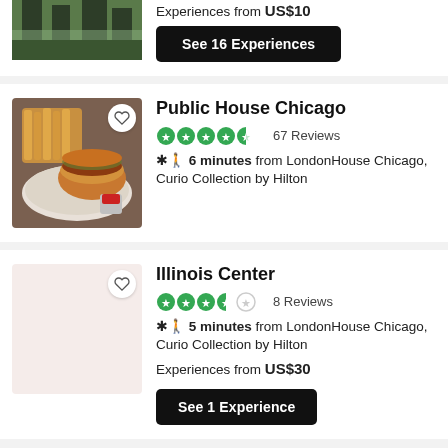Experiences from US$10
See 16 Experiences
Public House Chicago
67 Reviews
6 minutes from LondonHouse Chicago, Curio Collection by Hilton
Illinois Center
8 Reviews
5 minutes from LondonHouse Chicago, Curio Collection by Hilton
Experiences from US$30
See 1 Experience